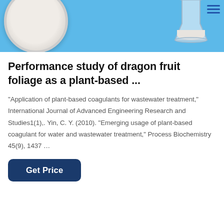[Figure (photo): Photo of a laboratory scene on a blue background: a white powder on a plate/dish on the left, and a glass beaker/flask with white powder on the right. A hamburger menu icon is visible in the top right corner.]
Performance study of dragon fruit foliage as a plant-based ...
“Application of plant-based coagulants for wastewater treatment,” International Journal of Advanced Engineering Research and Studies1(1),. Yin, C. Y. (2010). “Emerging usage of plant-based coagulant for water and wastewater treatment,” Process Biochemistry 45(9), 1437 …
Get Price